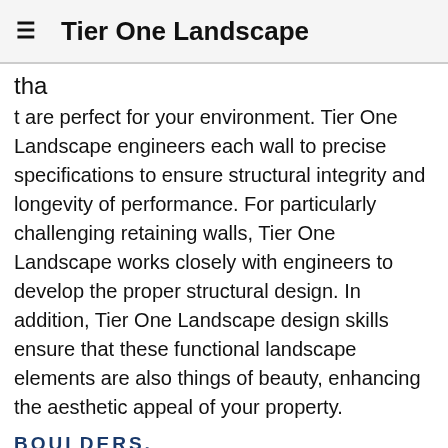≡  Tier One Landscape
tha
t are perfect for your environment. Tier One Landscape engineers each wall to precise specifications to ensure structural integrity and longevity of performance. For particularly challenging retaining walls, Tier One Landscape works closely with engineers to develop the proper structural design. In addition, Tier One Landscape design skills ensure that these functional landscape elements are also things of beauty, enhancing the aesthetic appeal of your property.
BOULDERS, LIMESTONE, & GRANITE
Boulde
ne, and granite are natural materials that can be used on